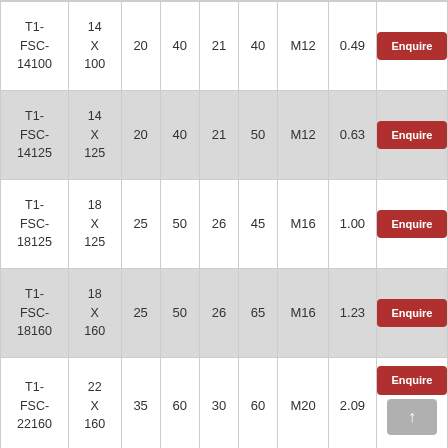| Part No. | Size | Col3 | Col4 | Col5 | Col6 | Thread | Weight | Action |
| --- | --- | --- | --- | --- | --- | --- | --- | --- |
| T1-FSC-14100 | 14 X 100 | 20 | 40 | 21 | 40 | M12 | 0.49 | Enquire |
| T1-FSC-14125 | 14 X 125 | 20 | 40 | 21 | 50 | M12 | 0.63 | Enquire |
| T1-FSC-18125 | 18 X 125 | 25 | 50 | 26 | 45 | M16 | 1.00 | Enquire |
| T1-FSC-18160 | 18 X 160 | 25 | 50 | 26 | 65 | M16 | 1.23 | Enquire |
| T1-FSC-22160 | 22 X 160 | 35 | 60 | 30 | 60 | M20 | 2.09 | Enquire |
| T1- | 22 |  |  |  |  |  |  |  |